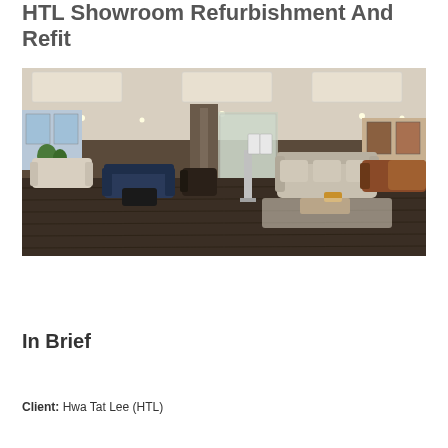HTL Showroom Refurbishment And Refit
[Figure (photo): Interior of a furniture showroom with multiple sofa sets arranged on dark hardwood flooring, white ceiling with recessed lighting, display stands in the center, and a partition wall in the background.]
In Brief
Client: Hwa Tat Lee (HTL)